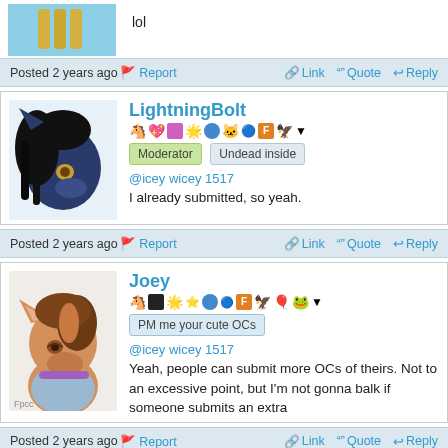[Figure (photo): Partial view of avatar with yellow/gold legs on blue background]
lol
Posted 2 years ago | Report | Link | Quote | Reply
[Figure (photo): LightningBolt avatar: dark blue pony with black hair and yellow eyes]
LightningBolt
Moderator | Undead inside
@icey wicey 1517
I already submitted, so yeah.
Posted 2 years ago | Report | Link | Quote | Reply
[Figure (photo): Joey avatar: brown pony with brown hair and purple accessories]
Joey
PM me your cute OCs
@icey wicey 1517
Yeah, people can submit more OCs of theirs. Not to an excessive point, but I'm not gonna balk if someone submits an extra
Posted 2 years ago | Report | Link | Quote | Reply